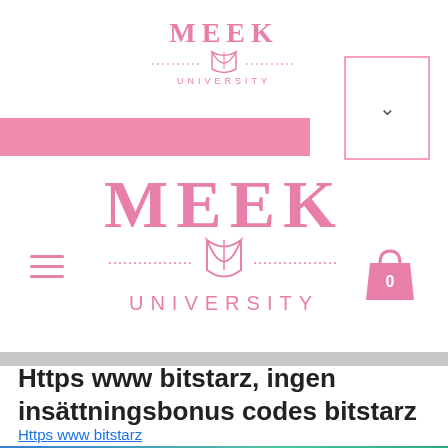[Figure (logo): Meek University logo small at top center, pink serif text MEEK with open book icon and UNIVERSITY below]
[Figure (other): Pink horizontal navigation bar spanning left portion, with dropdown chevron button top right]
[Figure (logo): Meek University logo large centered, pink serif MEEK text, open book icon, UNIVERSITY text, with hamburger menu left and shopping bag icon (0) right]
Https www bitstarz, ingen insättningsbonus codes bitstarz
Https www bitstarz